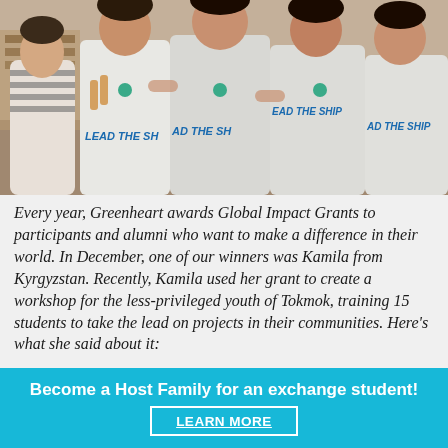[Figure (photo): Group photo of young women smiling, wearing white jackets/shirts with 'LEAD THE SHIP' printed in blue text, posing together indoors.]
Every year, Greenheart awards Global Impact Grants to participants and alumni who want to make a difference in their world. In December, one of our winners was Kamila from Kyrgyzstan. Recently, Kamila used her grant to create a workshop for the less-privileged youth of Tokmok, training 15 students to take the lead on projects in their communities. Here's what she said about it:
“The project united 15 different but amazing high school students from the industrial small town of Tokmok.
Become a Host Family for an exchange student!
LEARN MORE